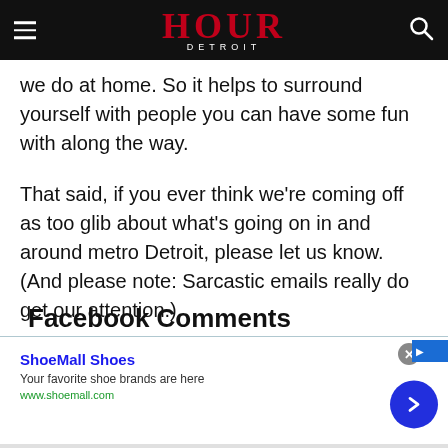HOUR DETROIT
we do at home. So it helps to surround yourself with people you can have some fun with along the way.
That said, if you ever think we're coming off as too glib about what's going on in and around metro Detroit, please let us know. (And please note: Sarcastic emails really do get our attention.)
Facebook Comments
[Figure (screenshot): ShoeMall Shoes advertisement banner. Title: ShoeMall Shoes. Description: Your favorite shoe brands are here. URL: www.shoemall.com. Blue circle arrow button on right. Close button (X) in gray circle top right.]